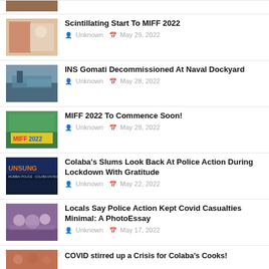[Figure (photo): Partial thumbnail of first article (cropped at top)]
[Figure (photo): People at MIFF 2022 event]
Scintillating Start To MIFF 2022
Unknown  May 29, 2022
[Figure (photo): INS Gomati naval ship at dockyard]
INS Gomati Decommissioned At Naval Dockyard
Unknown  May 28, 2022
[Figure (photo): MIFF 2022 logo sign]
MIFF 2022 To Commence Soon!
Unknown  May 28, 2022
[Figure (photo): Unsung Mumbai Police Colaba Division sign]
Colaba's Slums Look Back At Police Action During Lockdown With Gratitude
Unknown  May 22, 2022
[Figure (photo): Local residents group photo]
Locals Say Police Action Kept Covid Casualties Minimal: A PhotoEssay
Unknown  May 17, 2022
[Figure (photo): Partial thumbnail of last article (cropped at bottom)]
COVID stirred up a Crisis for Colaba's Cooks!